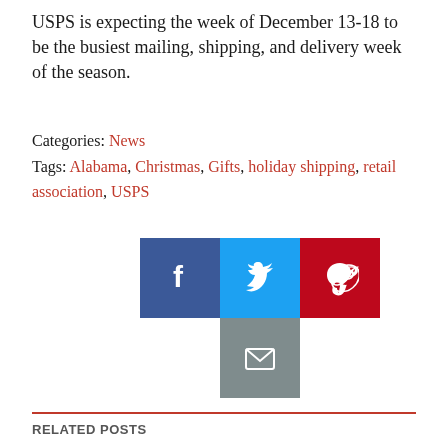USPS is expecting the week of December 13-18 to be the busiest mailing, shipping, and delivery week of the season.
Categories: News
Tags: Alabama, Christmas, Gifts, holiday shipping, retail association, USPS
[Figure (infographic): Social media sharing buttons: Facebook (blue), Twitter (light blue), Pinterest (red), Email (gray)]
RELATED POSTS
[Figure (photo): News article thumbnail showing a police car with text overlay reading MONTGOMERY SHOOTING and POLICE]